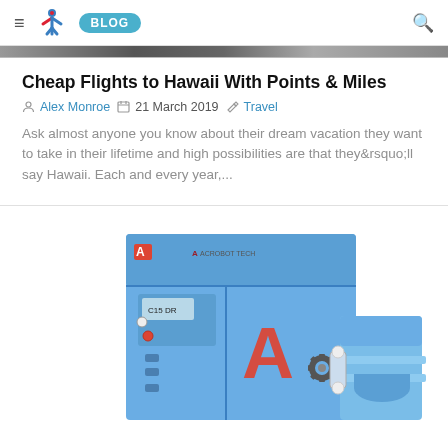≡ [Logo] BLOG 🔍
[Figure (photo): Horizontal banner image strip (dark tones) at top of page below nav]
Cheap Flights to Hawaii With Points & Miles
Alex Monroe  21 March 2019  Travel
Ask almost anyone you know about their dream vacation they want to take in their lifetime and high possibilities are that they&rsquo;ll say Hawaii. Each and every year,...
[Figure (photo): Blue industrial air compressor machine (model C15DR) with red A gear logo, partially cropped at bottom of page]